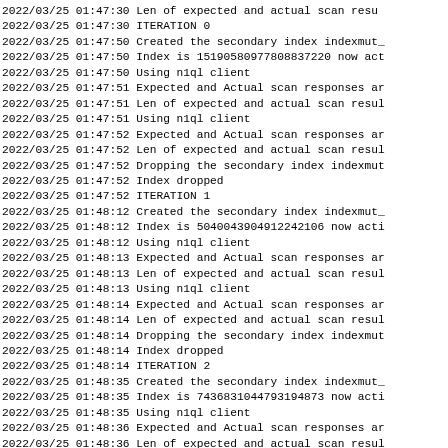2022/03/25 01:47:30 Len of expected and actual scan resu...
2022/03/25 01:47:30 ITERATION 0
2022/03/25 01:47:50 Created the secondary index indexmut_...
2022/03/25 01:47:50 Index is 15190580977808837220 now act...
2022/03/25 01:47:50 Using n1ql client
2022/03/25 01:47:51 Expected and Actual scan responses ar...
2022/03/25 01:47:51 Len of expected and actual scan resul...
2022/03/25 01:47:51 Using n1ql client
2022/03/25 01:47:52 Expected and Actual scan responses ar...
2022/03/25 01:47:52 Len of expected and actual scan resul...
2022/03/25 01:47:52 Dropping the secondary index indexmut...
2022/03/25 01:47:52 Index dropped
2022/03/25 01:47:52 ITERATION 1
2022/03/25 01:48:12 Created the secondary index indexmut_...
2022/03/25 01:48:12 Index is 5040043904912242106 now acti...
2022/03/25 01:48:12 Using n1ql client
2022/03/25 01:48:13 Expected and Actual scan responses ar...
2022/03/25 01:48:13 Len of expected and actual scan resul...
2022/03/25 01:48:13 Using n1ql client
2022/03/25 01:48:14 Expected and Actual scan responses ar...
2022/03/25 01:48:14 Len of expected and actual scan resul...
2022/03/25 01:48:14 Dropping the secondary index indexmut...
2022/03/25 01:48:14 Index dropped
2022/03/25 01:48:14 ITERATION 2
2022/03/25 01:48:35 Created the secondary index indexmut_...
2022/03/25 01:48:35 Index is 7436831044793194873 now acti...
2022/03/25 01:48:35 Using n1ql client
2022/03/25 01:48:36 Expected and Actual scan responses ar...
2022/03/25 01:48:36 Len of expected and actual scan resul...
2022/03/25 01:48:36 Using n1ql client
2022/03/25 01:48:39 Expected and Actual scan responses ar...